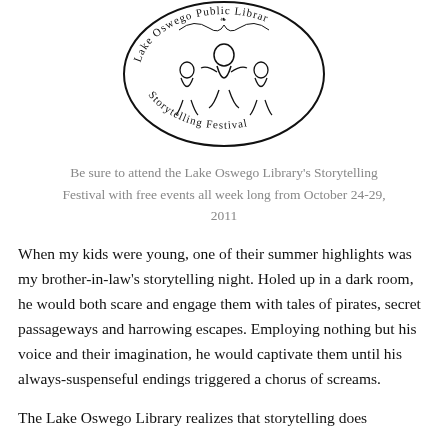[Figure (logo): Lake Oswego Public Library Storytelling Festival circular logo with illustrated figures and decorative text]
Be sure to attend the Lake Oswego Library's Storytelling Festival with free events all week long from October 24-29, 2011
When my kids were young, one of their summer highlights was my brother-in-law's storytelling night. Holed up in a dark room, he would both scare and engage them with tales of pirates, secret passageways and harrowing escapes. Employing nothing but his voice and their imagination, he would captivate them until his always-suspenseful endings triggered a chorus of screams.
The Lake Oswego Library realizes that storytelling does